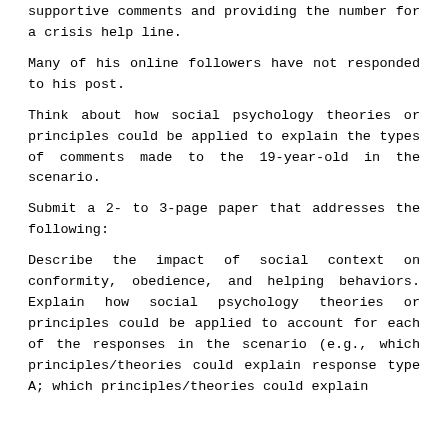supportive comments and providing the number for a crisis help line.
Many of his online followers have not responded to his post.
Think about how social psychology theories or principles could be applied to explain the types of comments made to the 19-year-old in the scenario.
Submit a 2- to 3-page paper that addresses the following:
Describe the impact of social context on conformity, obedience, and helping behaviors. Explain how social psychology theories or principles could be applied to account for each of the responses in the scenario (e.g., which principles/theories could explain response type A; which principles/theories could explain